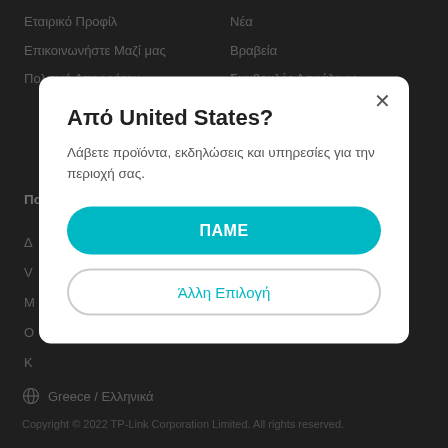[Figure (screenshot): Dark navigation background with Greek website menu items including Εταιρικό Προφίλ, Επικοινωνήστε Μαζί μας, Πολιτική Απορρήτου, Νέα, Βραβεία, Συμβουλές Ασφάλειας, and section headers in bold.]
Greece / Ελληνικά
Copyright © 2022 TP-Link Corporation Limited. All rights reserved.
Από United States?
Λάβετε προϊόντα, εκδηλώσεις και υπηρεσίες για την περιοχή σας.
ΠΑΜΕ
Άλλη Επιλογή